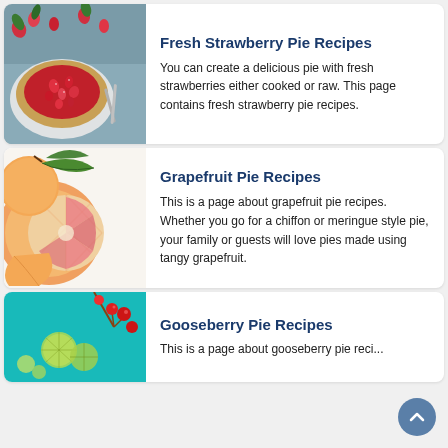[Figure (photo): Fresh strawberry pie from above with scattered strawberries and herbs on a blue-grey surface]
Fresh Strawberry Pie Recipes
You can create a delicious pie with fresh strawberries either cooked or raw. This page contains fresh strawberry pie recipes.
[Figure (photo): Grapefruit halves and segments on white background with green leaves]
Grapefruit Pie Recipes
This is a page about grapefruit pie recipes. Whether you go for a chiffon or meringue style pie, your family or guests will love pies made using tangy grapefruit.
[Figure (photo): Gooseberries and red currants on a teal/cyan background]
Gooseberry Pie Recipes
This is a page about gooseberry pie reci... There are a fine few of our most loved...